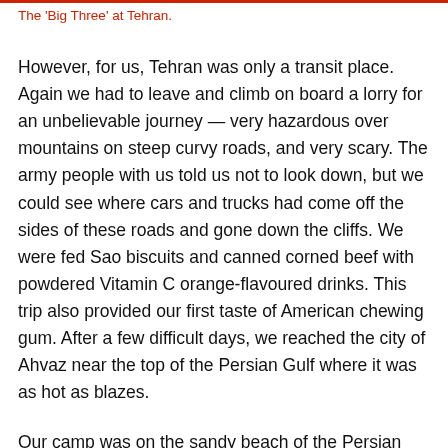The ‘Big Three’ at Tehran.
However, for us, Tehran was only a transit place. Again we had to leave and climb on board a lorry for an unbelievable journey — very hazardous over mountains on steep curvy roads, and very scary. The army people with us told us not to look down, but we could see where cars and trucks had come off the sides of these roads and gone down the cliffs. We were fed Sao biscuits and canned corned beef with powdered Vitamin C orange-flavoured drinks. This trip also provided our first taste of American chewing gum. After a few difficult days, we reached the city of Ahvaz near the top of the Persian Gulf where it was as hot as blazes.
Our camp was on the sandy beach of the Persian Gulf.